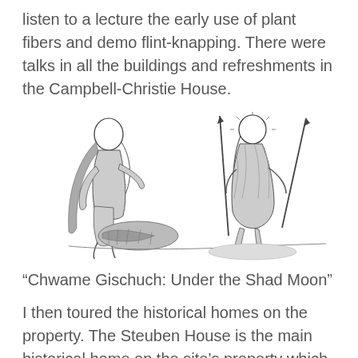listen to a lecture the early use of plant fibers and demo flint-knapping. There were talks in all the buildings and refreshments in the Campbell-Christie House.
[Figure (illustration): Black and white illustration of two Native American figures in traditional dress, one crouching over a pile of items on the ground and one standing holding spears or staffs.]
“Chwame Gischuch: Under the Shad Moon”
I then toured the historical homes on the property. The Steuben House is the main historical home on the site’s property which was built in 1752 which is by the Hackensack River and was used as a home and business in milling and shipping. Most of the Society’s artifacts are